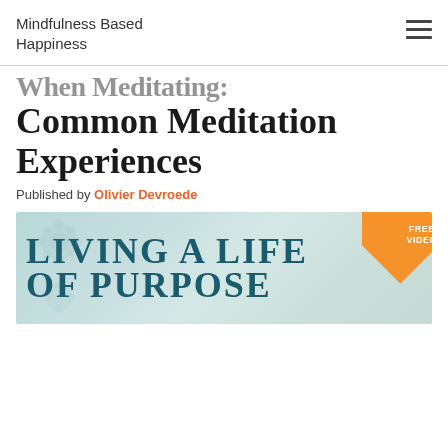Mindfulness Based Happiness
When Meditating: Common Meditation Experiences
Published by Olivier Devroede
[Figure (illustration): Promotional banner image with teal background and floral motif showing text 'LIVING A LIFE OF PURPOSE' with an orange corner badge reading 'FREE VIDEO']